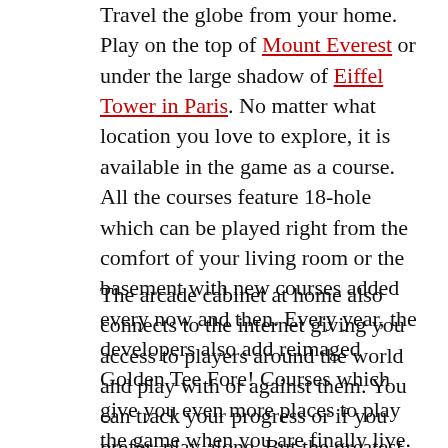Travel the globe from your home. Play on the top of Mount Everest or under the large shadow of Eiffel Tower in Paris. No matter what location you love to explore, it is available in the game as a course. All the courses feature 18-hole which can be played right from the comfort of your living room or the basement with new courses added every now and then. Every year, the developers also add reimaged Golden Tee Fore! Courses which give you even more places to play the game when you are finally live.
The arcade cabinet at home also connects to the internet giving you access to players around the world and play with or against them. You can track your progress or if you prefer, play alone. But the greatest fun in playing Golden Tee is against other players from around the world. Every game on the internet will pit you against 20 other players where